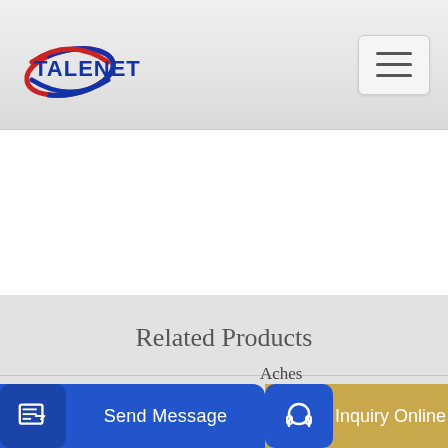[Figure (logo): Talenet company logo with red and blue oval swoosh and bold blue text TALENET]
[Figure (other): Hamburger menu icon button, three horizontal lines on light gray rounded rectangle]
Related Products
mixer-truck — Translation in Italian
Truemax Cbp100m Mobile Concrete Batching Plant
Aches
[Figure (screenshot): Send Message button bar at bottom with blue background and edit icon]
[Figure (screenshot): Inquiry Online button bar at bottom with golden/tan background and headset icon]